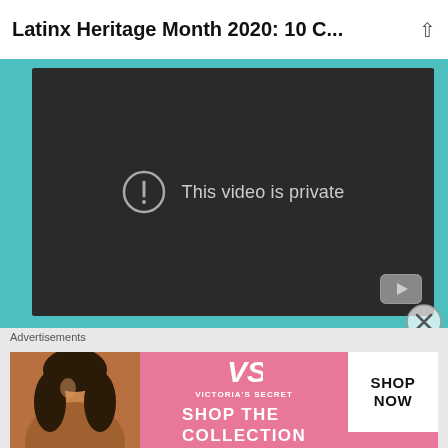Latinx Heritage Month 2020: 10 C...
[Figure (screenshot): Embedded video player showing 'This video is private' message on dark background with YouTube icon in bottom right corner]
This queer coming-of-age film follows Carlos, a 17-year-old that doesn't seem to fit anywhere... until he discovers the underground night scene of
[Figure (infographic): Victoria's Secret advertisement banner: 'SHOP THE COLLECTION' with SHOP NOW button, featuring a model photo on the left]